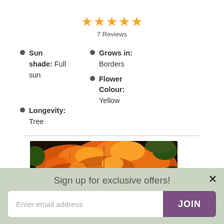[Figure (other): 5 orange/gold star rating icons]
7 Reviews
Sun shade: Full sun
Grows in: Borders
Flower Colour: Yellow
Longevity: Tree
[Figure (photo): Close-up photograph of orange and red maple leaves with green foliage in background]
Sign up for exclusive offers!
Enter email address
JOIN